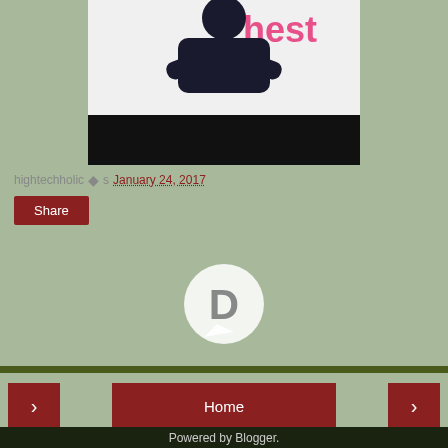[Figure (photo): Partial photo of a person in dark clothing against white background with pink 'hest' text visible, with black bar below]
hightechholic ✦s January 24, 2017
Share
[Figure (logo): Disqus speech bubble logo with D letter in white]
< Home >
View web version
Powered by Blogger.